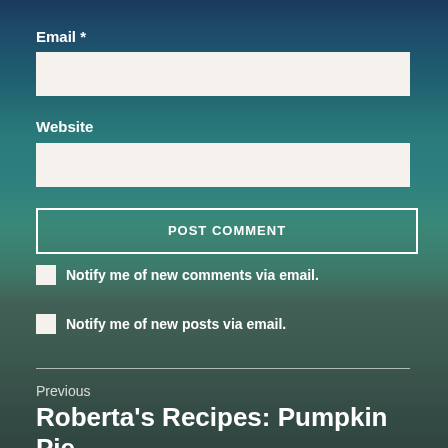Email *
[Figure (other): Text input field for Email]
Website
[Figure (other): Text input field for Website]
POST COMMENT
Notify me of new comments via email.
Notify me of new posts via email.
Previous
Roberta's Recipes: Pumpkin Pie